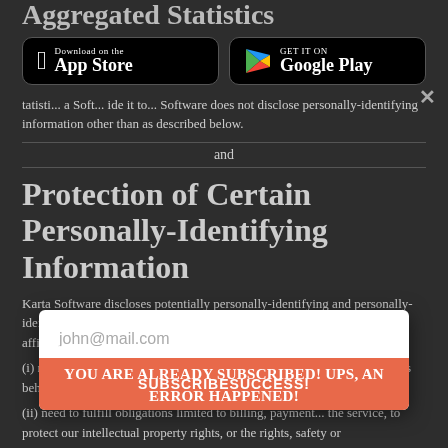Aggregated Statistics
[Figure (screenshot): App Store and Google Play download buttons on dark background]
Software does not disclose personally-identifying information other than as described below.
and
Protection of Certain Personally-Identifying Information
Karta Software discloses potentially personally-identifying and personally-identifying information only to those of its employees, contractors and affiliated organizations that
STAY UPDATED YOU ARE NOW SUBSCRIBED!
YOU ARE ALREADY SUBSCRIBED! UPS, AN ERROR HAPPENED!
(i) need to know that information in order to process it on Karta Software's behalf or to provide services available at Karta Software's
(ii) need to fulfill obligations limited to billing, payment processing, the service, to protect our intellectual property rights, or the rights, safety or
[Figure (screenshot): Email subscription modal with input field showing john@mail.com and subscribe button labeled SUBSCRIBESUCCESS!]